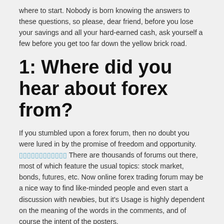where to start. Nobody is born knowing the answers to these questions, so please, dear friend, before you lose your savings and all your hard-earned cash, ask yourself a few before you get too far down the yellow brick road.
1: Where did you hear about forex from?
If you stumbled upon a forex forum, then no doubt you were lured in by the promise of freedom and opportunity. [link] There are thousands of forums out there, most of which feature the usual topics: stock market, bonds, futures, etc. Now online forex trading forum may be a nice way to find like-minded people and even start a discussion with newbies, but it's Usage is highly dependent on the meaning of the words in the comments, and of course the intent of the posters.
If you're new to forex trading, then you should know the true